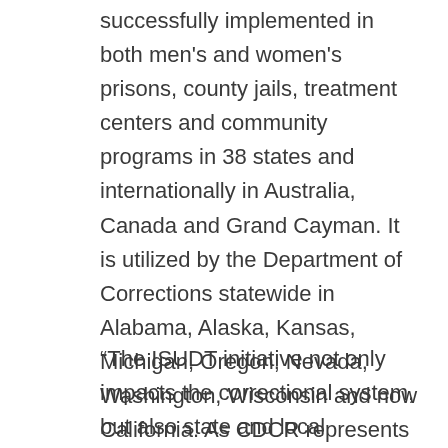successfully implemented in both men's and women's prisons, county jails, treatment centers and community programs in 38 states and internationally in Australia, Canada and Grand Cayman. It is utilized by the Department of Corrections statewide in Alabama, Alaska, Kansas, Michigan, Oregon, Nevada, Washington, Wisconsin and now California. As CDCR represents the largest correctional system in the country, this implementation will be the most expansive DOC implementation of Parenting Inside Out.
“The ISUDT initiative not only impacts the correctional system, but also state and local communities,” said Brantley Choate, Director